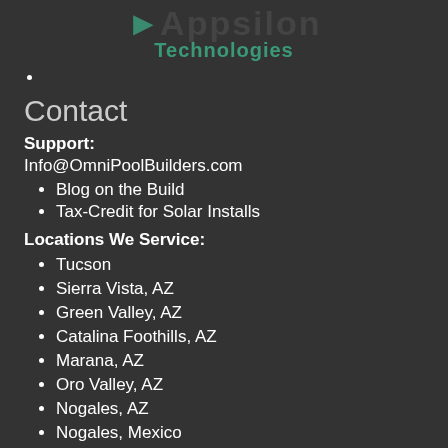Appsilon Technologies
Contact
Support:
Info@OmniPoolBuilders.com
Blog on the Build
Tax-Credit for Solar Installs
Locations We Service:
Tucson
Sierra Vista, AZ
Green Valley, AZ
Catalina Foothills, AZ
Marana, AZ
Oro Valley, AZ
Nogales, AZ
Nogales, Mexico
Florence, AZ
Coolidge, AZ
Casa Grande, AZ